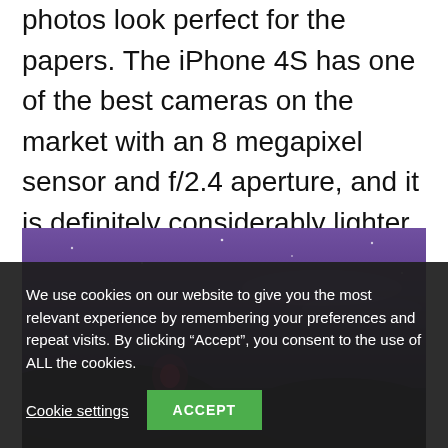adjustment tools and filters to make sure his photos look perfect for the papers. The iPhone 4S has one of the best cameras on the market with an 8 megapixel sensor and f/2.4 aperture, and it is definitely considerably lighter, and less expensive, than the host of professional cameras brought by his fellow photographers.
[Figure (photo): A night or twilight outdoor photo showing a figure or person with a pink/red light against a deep purple-blue sky background.]
We use cookies on our website to give you the most relevant experience by remembering your preferences and repeat visits. By clicking “Accept”, you consent to the use of ALL the cookies.
Cookie settings   ACCEPT